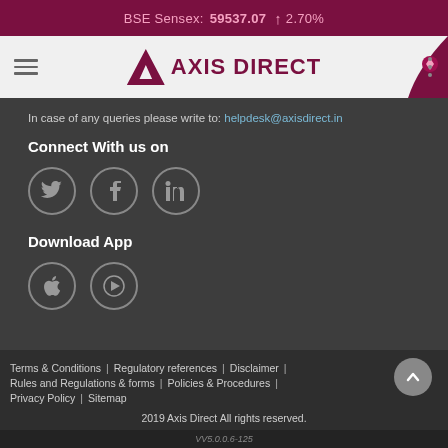BSE Sensex: 59537.07  ↑ 2.70%
[Figure (logo): Axis Direct logo with navigation bar showing hamburger menu, Axis Direct brand logo, and three-dot menu]
In case of any queries please write to: helpdesk@axisdirect.in
Connect With us on
[Figure (illustration): Three circular social media icons: Twitter, Facebook, LinkedIn]
Download App
[Figure (illustration): Two circular app store icons: Apple App Store and Google Play Store]
Terms & Conditions | Regulatory references | Disclaimer | Rules and Regulations & forms | Policies & Procedures | Privacy Policy | Sitemap
2019 Axis Direct All rights reserved.
VV5.0.0.6-125